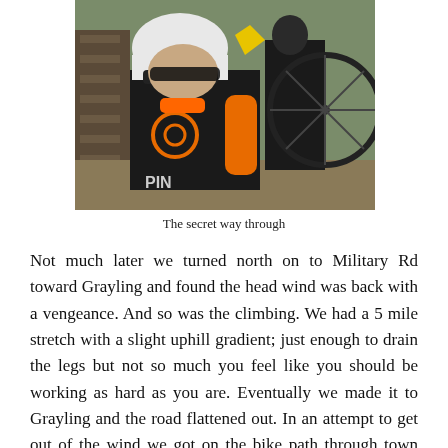[Figure (photo): Two cyclists in a narrow outdoor passage. The foreground cyclist wears a black and orange jersey with 'PIN' branding and a white helmet with sunglasses. The background shows another cyclist in dark clothing holding a bicycle wheel, with greenery visible.]
The secret way through
Not much later we turned north on to Military Rd toward Grayling and found the head wind was back with a vengeance. And so was the climbing. We had a 5 mile stretch with a slight uphill gradient; just enough to drain the legs but not so much you feel like you should be working as hard as you are. Eventually we made it to Grayling and the road flattened out. In an attempt to get out of the wind we got on the bike path through town and rode it all the way to Hartwick Pines State Park. It was nice to be off the road away from traffic for a bit,